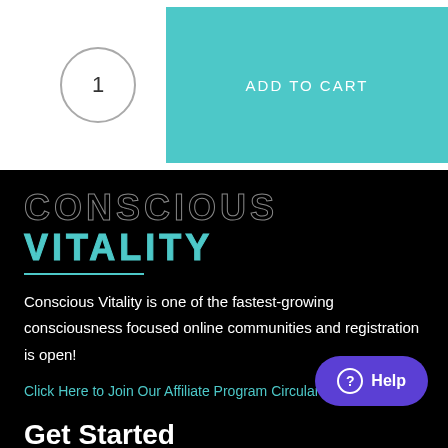[Figure (screenshot): White section showing quantity selector (circle with 1) and teal ADD TO CART button]
CONSCIOUS VITALITY
Conscious Vitality is one of the fastest-growing consciousness focused online communities and registration is open!
Click Here to Join Our Affiliate Program Circular Economy
Get Started
Start your...